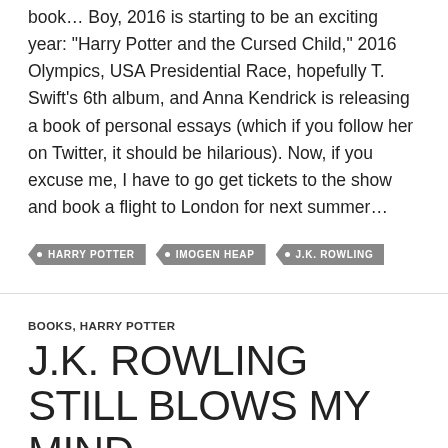book… Boy, 2016 is starting to be an exciting year: "Harry Potter and the Cursed Child," 2016 Olympics, USA Presidential Race, hopefully T. Swift's 6th album, and Anna Kendrick is releasing a book of personal essays (which if you follow her on Twitter, it should be hilarious). Now, if you excuse me, I have to go get tickets to the show and book a flight to London for next summer…
• HARRY POTTER
• IMOGEN HEAP
• J.K. ROWLING
BOOKS, HARRY POTTER
J.K. ROWLING STILL BLOWS MY MIND
APRIL 27, 2015